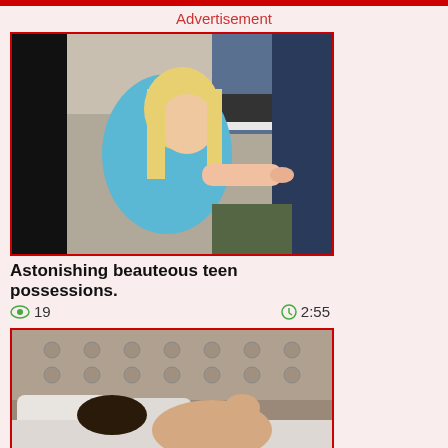Advertisement
[Figure (photo): Video thumbnail showing a blonde young woman in a blue t-shirt kneeling]
Astonishing beauteous teen possessions.
👁 19   🕐 2:55
[Figure (photo): Video thumbnail showing two people on a bed with tufted headboard]